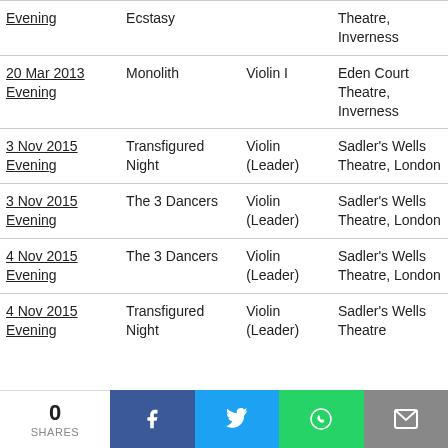| Date | Work | Role | Venue |
| --- | --- | --- | --- |
| Evening | Ecstasy |  | Theatre, Inverness |
| 20 Mar 2013 Evening | Monolith | Violin I | Eden Court Theatre, Inverness |
| 3 Nov 2015 Evening | Transfigured Night | Violin (Leader) | Sadler's Wells Theatre, London |
| 3 Nov 2015 Evening | The 3 Dancers | Violin (Leader) | Sadler's Wells Theatre, London |
| 4 Nov 2015 Evening | The 3 Dancers | Violin (Leader) | Sadler's Wells Theatre, London |
| 4 Nov 2015 Evening | Transfigured Night | Violin (Leader) | Sadler's Wells Theatre |
0 SHARES | Facebook | Twitter | WhatsApp | Email